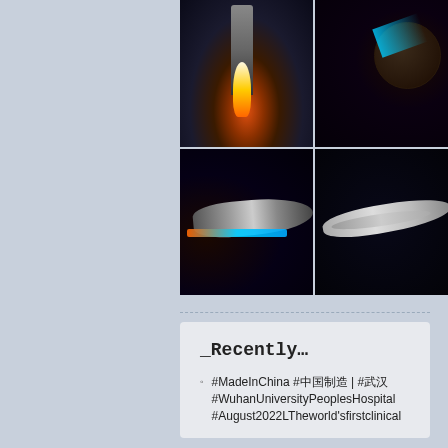[Figure (photo): 2x2 grid of dark space/sci-fi images: top-left is a rocket launch at night with fire glow, top-right is a space station or planet with cyan light beams, bottom-left is a futuristic spaceship with blue and orange engine trails, bottom-right is an Enterprise-style starship in space]
_Recently…
#MadeInChina #中国制造 | #武汉 #WuhanUniversityPeoplesHospital #August2022LTheworld'sfirstclinical